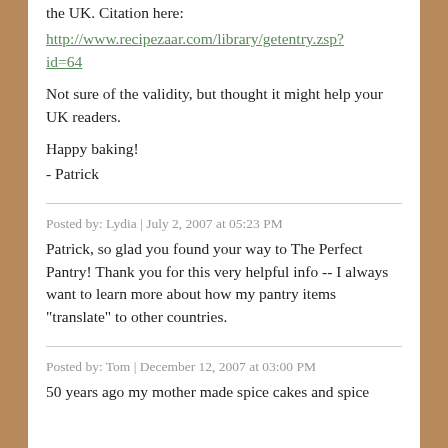the UK. Citation here:
http://www.recipezaar.com/library/getentry.zsp?id=64
Not sure of the validity, but thought it might help your UK readers.

Happy baking!
- Patrick
Posted by: Lydia | July 2, 2007 at 05:23 PM
Patrick, so glad you found your way to The Perfect Pantry! Thank you for this very helpful info -- I always want to learn more about how my pantry items "translate" to other countries.
Posted by: Tom | December 12, 2007 at 03:00 PM
50 years ago my mother made spice cakes and spice